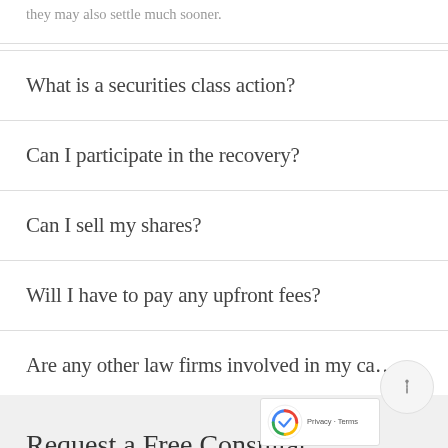they may also settle much sooner.
What is a securities class action?
Can I participate in the recovery?
Can I sell my shares?
Will I have to pay any upfront fees?
Are any other law firms involved in my ca…
Request a Free Consultat…